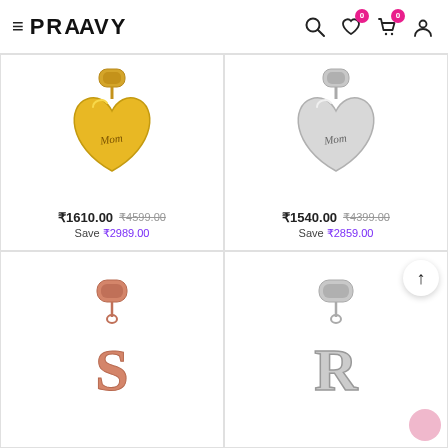PRAAVY
[Figure (photo): Gold heart charm with 'Mom' engraved, dangling from a gold bead]
₹1610.00  ₹4599.00
Save ₹2989.00
[Figure (photo): Silver heart charm with 'Mom' engraved, dangling from a silver bead]
₹1540.00  ₹4399.00
Save ₹2859.00
[Figure (photo): Rose gold letter 'S' charm dangling from a rose gold bead]
[Figure (photo): Silver letter 'R' charm dangling from a silver bead]